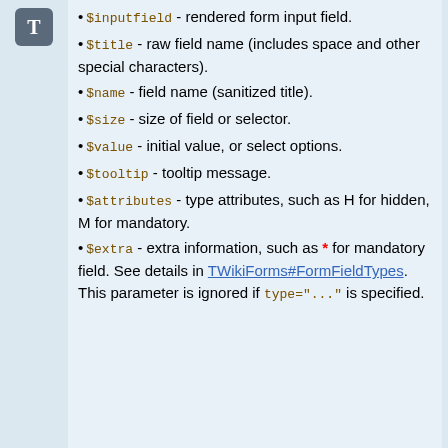[Figure (other): T icon in left sidebar]
$inputfield - rendered form input field.
$title - raw field name (includes space and other special characters).
$name - field name (sanitized title).
$size - size of field or selector.
$value - initial value, or select options.
$tooltip - tooltip message.
$attributes - type attributes, such as H for hidden, M for mandatory.
$extra - extra information, such as * for mandatory field. See details in TWikiForms#FormFieldTypes. This parameter is ignored if type="..." is specified.